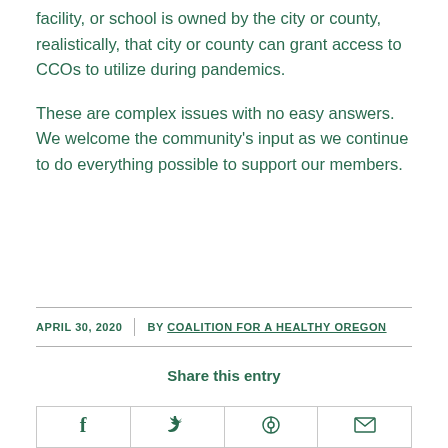facility, or school is owned by the city or county, realistically, that city or county can grant access to CCOs to utilize during pandemics.
These are complex issues with no easy answers. We welcome the community's input as we continue to do everything possible to support our members.
APRIL 30, 2020 | BY COALITION FOR A HEALTHY OREGON
Share this entry